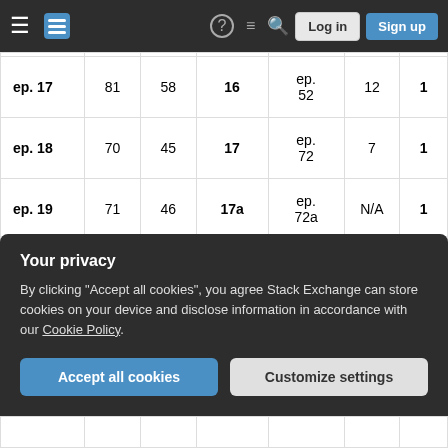Stack Exchange navigation bar with hamburger menu, logo, help, chat, search icons, Log in and Sign up buttons
| Episode | Col2 | Col3 | Col4 | Col5 | Col6 | Col7 |
| --- | --- | --- | --- | --- | --- | --- |
| ep. 17 | 81 | 58 | 16 | ep. 52 | 12 | 1 |
| ep. 18 | 70 | 45 | 17 | ep. 72 | 7 | 1 |
| ep. 19 | 71 | 46 | 17a | ep. 72a | N/A | 1 |
| ep. 20 | 77 | 47 | 18 | ep. 73 | 8 | 1 |
| ep. 21 (partial) |  |  |  | ep. ... |  |  |
Your privacy
By clicking "Accept all cookies", you agree Stack Exchange can store cookies on your device and disclose information in accordance with our Cookie Policy.
Accept all cookies
Customize settings